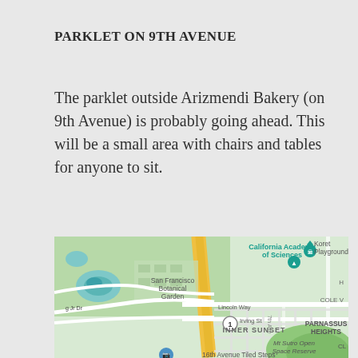PARKLET ON 9TH AVENUE
The parklet outside Arizmendi Bakery (on 9th Avenue) is probably going ahead. This will be a small area with chairs and tables for anyone to sit.
[Figure (map): Google Maps view showing the Inner Sunset neighborhood of San Francisco, including Golden Gate Park with California Academy of Sciences, San Francisco Botanical Garden, Koret Playground, Lincoln Way, Irving St, Inner Sunset label, Parnassus Heights, 7th Ave, Mt Sutro Open Space Reserve, and 16th Avenue Tiled Steps.]